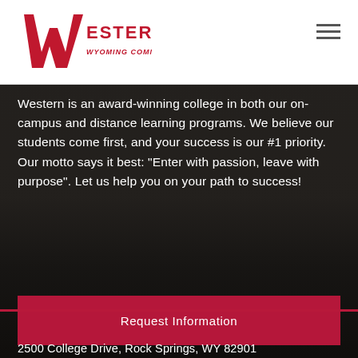[Figure (logo): Western Wyoming Community College logo with red W graphic and text]
Western is an award-winning college in both our on-campus and distance learning programs. We believe our students come first, and your success is our #1 priority. Our motto says it best: “Enter with passion, leave with purpose”. Let us help you on your path to success!
Request Information
Apply to Western
2500 College Drive, Rock Springs, WY 82901